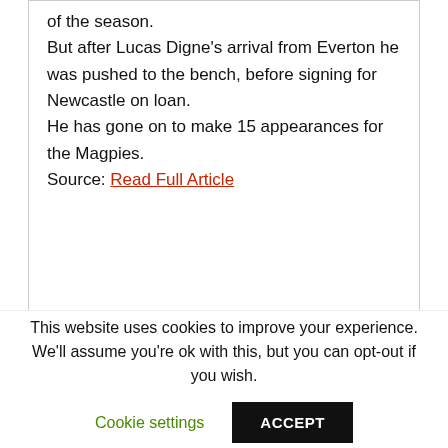of the season.
But after Lucas Digne's arrival from Everton he was pushed to the bench, before signing for Newcastle on loan.
He has gone on to make 15 appearances for the Magpies.
Source: Read Full Article
«
This website uses cookies to improve your experience. We'll assume you're ok with this, but you can opt-out if you wish.
Cookie settings
ACCEPT